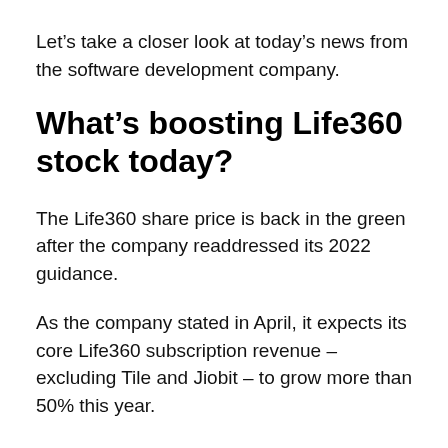Let’s take a closer look at today’s news from the software development company.
What’s boosting Life360 stock today?
The Life360 share price is back in the green after the company readdressed its 2022 guidance.
As the company stated in April, it expects its core Life360 subscription revenue – excluding Tile and Jiobit – to grow more than 50% this year.
Life360 is also expecting to report a non-GAAP